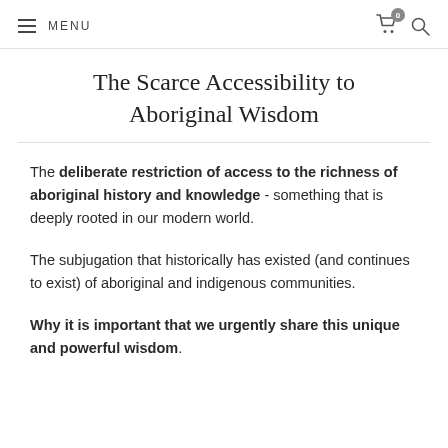MENU
The Scarce Accessibility to Aboriginal Wisdom
The deliberate restriction of access to the richness of aboriginal history and knowledge - something that is deeply rooted in our modern world.
The subjugation that historically has existed (and continues to exist) of aboriginal and indigenous communities.
Why it is important that we urgently share this unique and powerful wisdom.